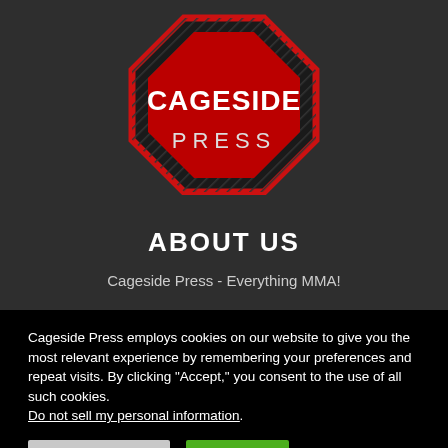[Figure (logo): Cageside Press logo — octagon shaped badge with dark crosshatch pattern, red border, white text CAGESIDE on top and PRESS below]
ABOUT US
Cageside Press - Everything MMA!
Cageside Press employs cookies on our website to give you the most relevant experience by remembering your preferences and repeat visits. By clicking “Accept,” you consent to the use of all such cookies.
Do not sell my personal information.